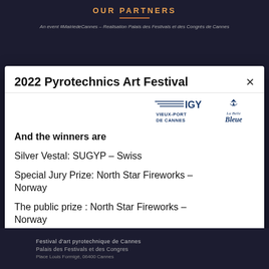OUR PARTNERS
An event #MairiedeCannes – Realisation Palais des Festivals et des Congrés de Cannes
2022 Pyrotechnics Art Festival
[Figure (logo): IGY Vieux-Port de Cannes logo and La Belle Bleue logo side by side]
And the winners are
Silver Vestal: SUGYP – Swiss
Special Jury Prize: North Star Fireworks – Norway
The public prize : North Star Fireworks – Norway
Congratulations to the winners and a big congratulations to all participants of this
Festival d'art pyrotechnique de Cannes
Palais des Festivals et des Congres
Place Louis Formigé, 06400 Cannes